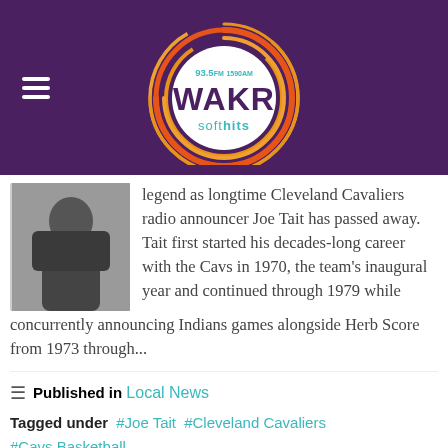93.5FM 1590AM WAKR soft hits
[Figure (photo): Photo of a man wearing glasses in a car]
legend as longtime Cleveland Cavaliers radio announcer Joe Tait has passed away.   Tait first started his decades-long career with the Cavs in 1970, the team's inaugural year and continued through 1979 while concurrently announcing Indians games alongside Herb Score from 1973 through...
Published in  Local News
Tagged under  #Joe Tait  #Cleveland Cavaliers  #Cavs Basketball